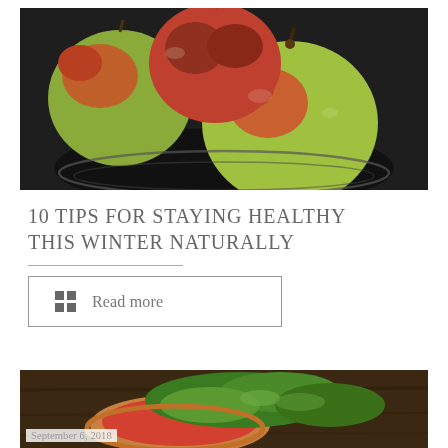[Figure (photo): Close-up photo of several red and green apples arranged in a dark wire bowl against a dark background]
10 TIPS FOR STAYING HEALTHY THIS WINTER NATURALLY
Read more
[Figure (photo): Photo of food with green leafy greens and what appears to be a tart or pizza with tomato sauce, with date stamp September 6, 2018]